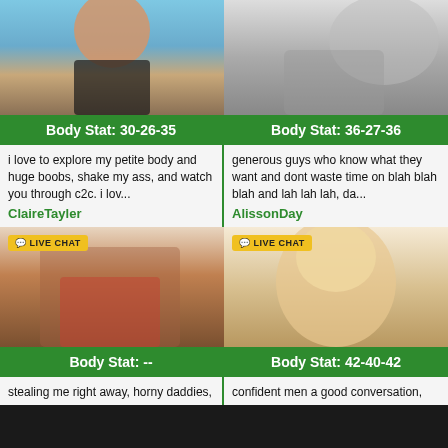[Figure (photo): Woman in black bikini at beach]
[Figure (photo): Black and white photo of woman in lingerie]
Body Stat: 30-26-35
Body Stat: 36-27-36
i love to explore my petite body and huge boobs, shake my ass, and watch you through c2c. i lov...
generous guys who know what they want and dont waste time on blah blah blah and lah lah lah, da...
ClaireTayler
AlissonDay
[Figure (photo): Woman in red plaid skirt showing backside, LIVE CHAT badge]
[Figure (photo): Blonde woman with blue eyes close-up, LIVE CHAT badge]
Body Stat: --
Body Stat: 42-40-42
stealing me right away, horny daddies,
confident men a good conversation,